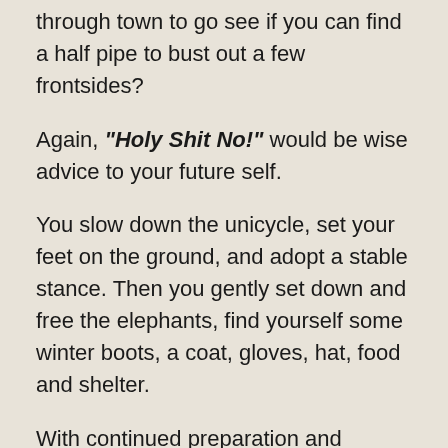through town to go see if you can find a half pipe to bust out a few frontsides?
Again, “Holy Shit No!” would be wise advice to your future self.
You slow down the unicycle, set your feet on the ground, and adopt a stable stance. Then you gently set down and free the elephants, find yourself some winter boots, a coat, gloves, hat, food and shelter.
With continued preparation and ingenuity, you can be out making snow angels and watching the winter moons, instead of having your frozen and crushed body blackening in the shadow of the elephant corpses, being nibbled away by raccoons until the eventual maggot infestation when the spring thaw comes.
The...